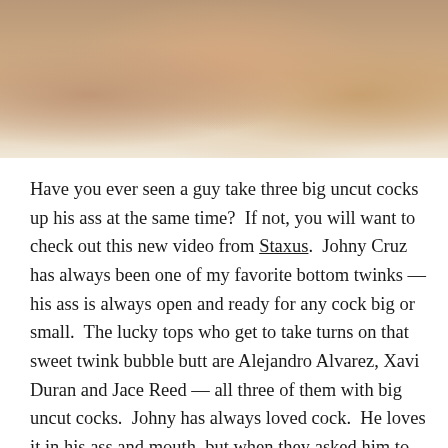[Figure (photo): Photo of multiple people on a bed with white bedding, showing skin and bodies from the waist down/torso area]
Have you ever seen a guy take three big uncut cocks up his ass at the same time?  If not, you will want to check out this new video from Staxus.  Johny Cruz has always been one of my favorite bottom twinks — his ass is always open and ready for any cock big or small.  The lucky tops who get to take turns on that sweet twink bubble butt are Alejandro Alvarez, Xavi Duran and Jace Reed — all three of them with big uncut cocks.  Johny has always loved cock.  He loves it in his ass and mouth, but when they asked him to do a triple penetration video, his eyes got wet and he immediately said yes.  The scene starts with Johny, Alejandro and Xavi in the bedroom getting ready for a little action.  Johny starts sucking on both of their big uncut cocks until all three guys have rock hard boners.  Jace arrives later after the action is well under way.